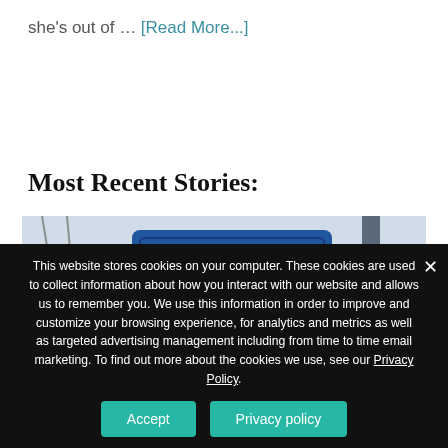she's out of … [Read More...]
Most Recent Stories:
[Figure (photo): A gas station price display showing 4.29 9/10 in red LED digits on a blue sign, with text 'Price TV All Taxes Included' and 'Diesel All Taxes Included']
This website stores cookies on your computer. These cookies are used to collect information about how you interact with our website and allows us to remember you. We use this information in order to improve and customize your browsing experience, for analytics and metrics as well as targeted advertising management including from time to time email marketing. To find out more about the cookies we use, see our Privacy Policy.